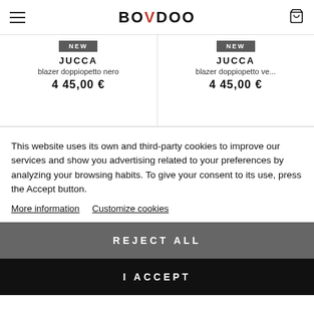BOWDOO
NEW — JUCCA — blazer doppiopetto nero — 445,00 €
NEW — JUCCA — blazer doppiopetto ve... — 445,00 €
This website uses its own and third-party cookies to improve our services and show you advertising related to your preferences by analyzing your browsing habits. To give your consent to its use, press the Accept button.
More information   Customize cookies
REJECT ALL
I ACCEPT